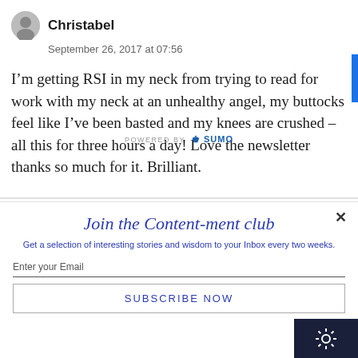Christabel
September 26, 2017 at 07:56
I’m getting RSI in my neck from trying to read for work with my neck at an unhealthy angel, my buttocks feel like I’ve been basted and my knees are crushed – all this for three hours a day! Love the newsletter thanks so much for it. Brilliant.
Join the Content-ment club
Get a selection of interesting stories and wisdom to your Inbox every two weeks.
Enter your Email
SUBSCRIBE NOW